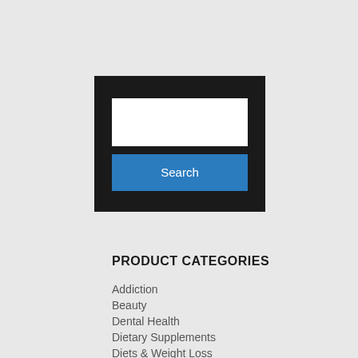[Figure (screenshot): Search widget with a white text input field and a blue Search button on a dark/black background]
PRODUCT CATEGORIES
Addiction
Beauty
Dental Health
Dietary Supplements
Diets & Weight Loss
Exercise & Fitness